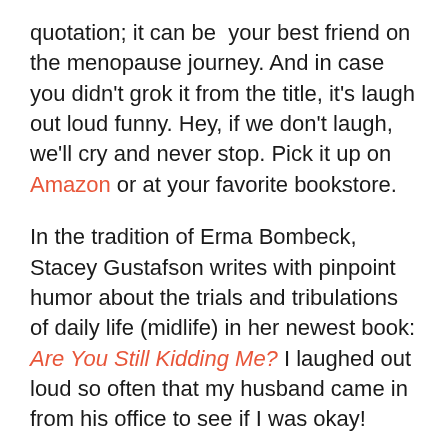quotation; it can be your best friend on the menopause journey. And in case you didn't grok it from the title, it's laugh out loud funny. Hey, if we don't laugh, we'll cry and never stop. Pick it up on Amazon or at your favorite bookstore.
In the tradition of Erma Bombeck, Stacey Gustafson writes with pinpoint humor about the trials and tribulations of daily life (midlife) in her newest book: Are You Still Kidding Me? I laughed out loud so often that my husband came in from his office to see if I was okay!
So grab a cup of coffee, ease into the easy chair, and be prepared to laugh out loud too. Stacy may not be your new best friend, but